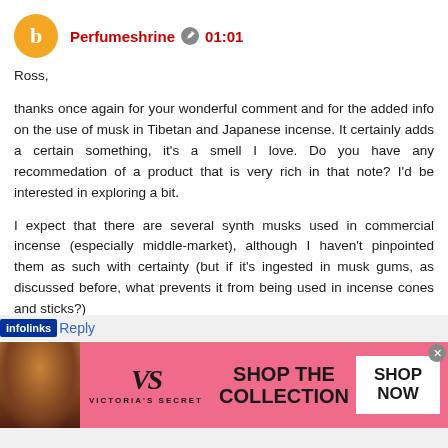Perfumeshrine 01:01
Ross,

thanks once again for your wonderful comment and for the added info on the use of musk in Tibetan and Japanese incense. It certainly adds a certain something, it's a smell I love. Do you have any recommedation of a product that is very rich in that note? I'd be interested in exploring a bit.

I expect that there are several synth musks used in commercial incense (especially middle-market), although I haven't pinpointed them as such with certainty (but if it's ingested in musk gums, as discussed before, what prevents it from being used in incense cones and sticks?)
Reply
[Figure (photo): Victoria's Secret advertisement banner with pink background, woman's face on left, VS logo in center, 'SHOP THE COLLECTION' text, and 'SHOP NOW' button on right.]